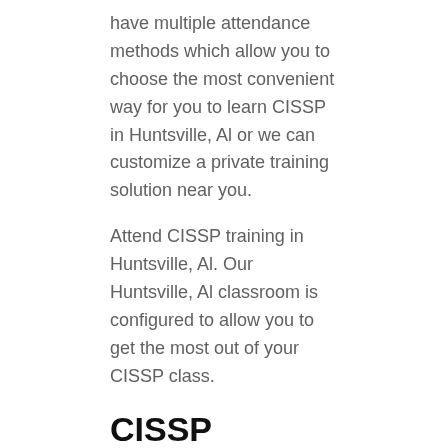have multiple attendance methods which allow you to choose the most convenient way for you to learn CISSP in Huntsville, Al or we can customize a private training solution near you.
Attend CISSP training in Huntsville, Al. Our Huntsville, Al classroom is configured to allow you to get the most out of your CISSP class.
CISSP Training Boot Camp
The ISC CISSP certification bootcamp provides technical skills training on security and risk management, assets security, security engineering , data communications and network security, identity and access management,